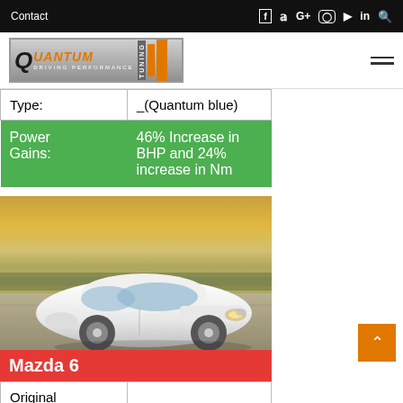Contact | Facebook | Twitter | G+ | Instagram | YouTube | LinkedIn | Search
[Figure (logo): Quantum Tuning - Driving Performance logo with orange bars]
| Type: | _(Quantum blue) |
| Power Gains: | 46% Increase in BHP and 24% increase in Nm |
[Figure (photo): White Mazda 6 sedan driving on a road with blurred background and sunset sky]
Mazda 6
| Original |
| --- |